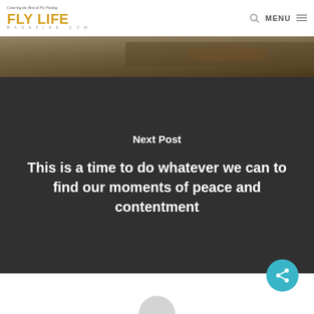Covering the Best of Fly Fishing — FLY LIFE MAGAZINE.COM
[Figure (photo): Close-up photo of a person tying a fly fishing lure at a workbench]
Next Post
This is a time to do whatever we can to find our moments of peace and contentment